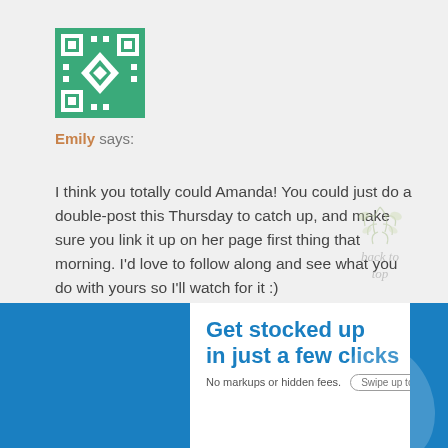[Figure (illustration): Green and white geometric QR-code style avatar icon]
Emily says:
I think you totally could Amanda! You could just do a double-post this Thursday to catch up, and make sure you link it up on her page first thing that morning. I'd love to follow along and see what you do with yours so I'll watch for it :)
[Figure (illustration): Back to top decorative script text with botanical leaf illustration]
↩ Reply
April 5, 2015 at 8:38 pm
[Figure (screenshot): Advertisement banner: 'Get stocked up in just a few clicks. No markups or hidden fees. Swipe up to expand.' on white background with blue surroundings.]